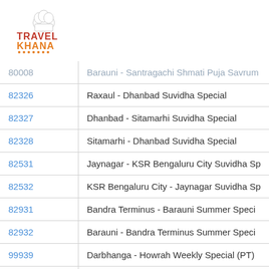[Figure (logo): Travel Khana logo with chef hat icon, red and orange text]
| Train No. | Train Name |
| --- | --- |
| 80008 | Barauni - Santragachi Shmatri Puja Savrum... |
| 82326 | Raxaul - Dhanbad Suvidha Special |
| 82327 | Dhanbad - Sitamarhi Suvidha Special |
| 82328 | Sitamarhi - Dhanbad Suvidha Special |
| 82531 | Jaynagar - KSR Bengaluru City Suvidha Sp... |
| 82532 | KSR Bengaluru City - Jaynagar Suvidha Sp... |
| 82931 | Bandra Terminus - Barauni Summer Speci... |
| 82932 | Barauni - Bandra Terminus Summer Speci... |
| 99939 | Darbhanga - Howrah Weekly Special (PT) |
| X 01310 | Darbhanga - Nasik Road Kumbh Mela Spe... |